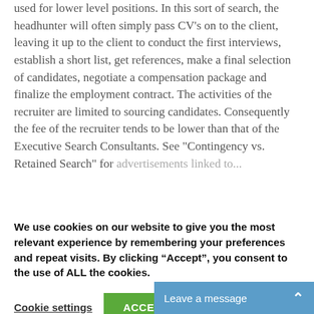used for lower level positions. In this sort of search, the headhunter will often simply pass CV's on to the client, leaving it up to the client to conduct the first interviews, establish a short list, get references, make a final selection of candidates, negotiate a compensation package and finalize the employment contract. The activities of the recruiter are limited to sourcing candidates. Consequently the fee of the recruiter tends to be lower than that of the Executive Search Consultants. See "Contingency vs. Retained Search" for
We use cookies on our website to give you the most relevant experience by remembering your preferences and repeat visits. By clicking “Accept”, you consent to the use of ALL the cookies.
Cookie settings
ACCEPT
Leave a message